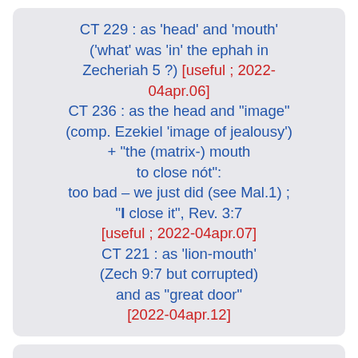CT 229 : as 'head' and 'mouth' ('what' was 'in' the ephah in Zecheriah 5 ?) [useful ; 2022-04apr.06] CT 236 : as the head and "image" (comp. Ezekiel 'image of jealousy') + "the (matrix-) mouth to close nót": too bad – we just did (see Mal.1) ; "I close it", Rev. 3:7 [useful ; 2022-04apr.07] CT 221 : as 'lion-mouth' (Zech 9:7 but corrupted) and as "great door" [2022-04apr.12]
CT 251 : the stolen eden gate : the "Emerald Bow" now of matrix (and likely the Ark is described)